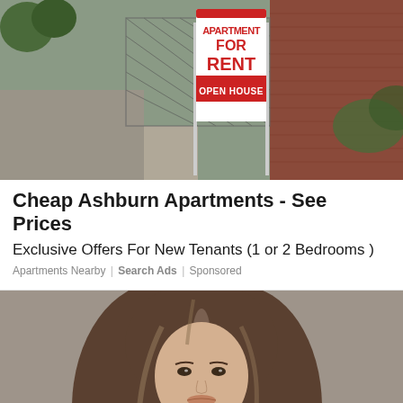[Figure (photo): Street-level photo of an apartment for rent sign with 'APARTMENT FOR RENT' in red letters and 'OPEN HOUSE' banner, set against a brick building background with a chain-link fence and sidewalk]
Cheap Ashburn Apartments - See Prices
Exclusive Offers For New Tenants (1 or 2 Bedrooms )
Apartments Nearby | Search Ads | Sponsored
[Figure (photo): Portrait photo of a young woman with long highlighted brown wavy hair against a taupe/brown background]